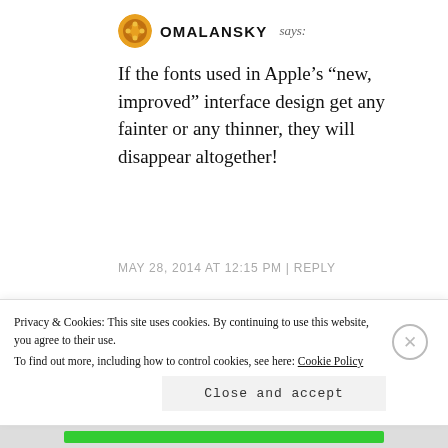OMALANSKY says:
If the fonts used in Apple's “new, improved” interface design get any fainter or any thinner, they will disappear altogether!
MAY 28, 2014 AT 12:15 PM | REPLY
ANDREWG says:
Not bad, but if the new system font
Privacy & Cookies: This site uses cookies. By continuing to use this website, you agree to their use.
To find out more, including how to control cookies, see here: Cookie Policy
Close and accept